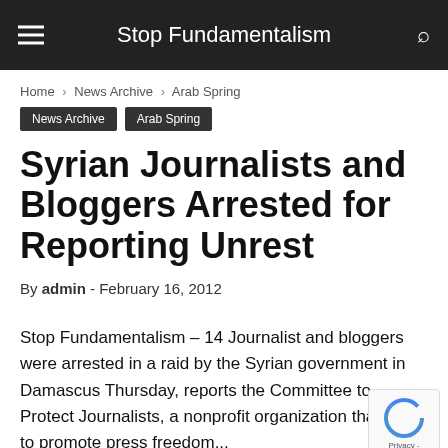Stop Fundamentalism
Home › News Archive › Arab Spring
News Archive
Arab Spring
Syrian Journalists and Bloggers Arrested for Reporting Unrest
By admin - February 16, 2012
Stop Fundamentalism – 14 Journalist and bloggers were arrested in a raid by the Syrian government in Damascus Thursday, reports the Committee to Protect Journalists, a nonprofit organization that aims to promote press freedom...